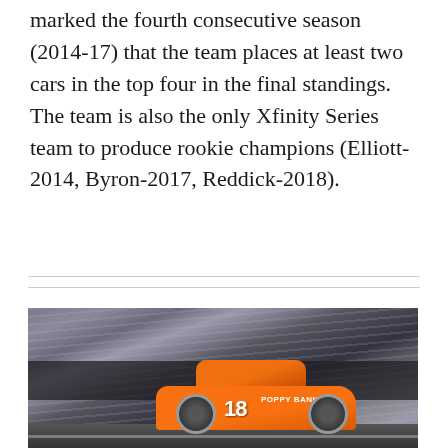marked the fourth consecutive season (2014-17) that the team places at least two cars in the top four in the final standings. The team is also the only Xfinity Series team to produce rookie champions (Elliott-2014, Byron-2017, Reddick-2018).
[Figure (photo): A motion-blurred action photo of NASCAR race car number 18 with Poppy Bank sponsorship in orange livery on a race track]